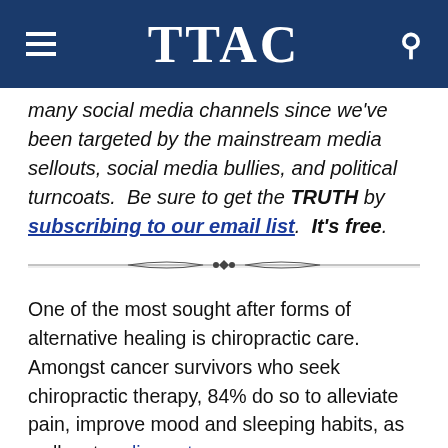TTAC
many social media channels since we've been targeted by the mainstream media sellouts, social media bullies, and political turncoats.  Be sure to get the TRUTH by subscribing to our email list.  It's free.
[Figure (illustration): Decorative horizontal divider with ornamental design in center]
One of the most sought after forms of alternative healing is chiropractic care. Amongst cancer survivors who seek chiropractic therapy, 84% do so to alleviate pain, improve mood and sleeping habits, as well as to relieve stress.
The purpose of chiropractic treatment is not only